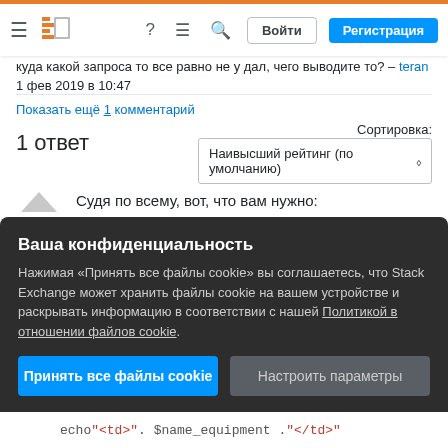[Figure (screenshot): Stack Overflow navigation bar with hamburger menu, logo, icons, Войти (login) and Регистрация (register) buttons]
куда какой запроса то все равно не у дал, чего выводите то? – teran 1 фев 2019 в 10:47
Показать ещё 1 комментарий
1 ответ
Сортировка: Наивысший рейтинг (по умолчанию)
Судя по всему, вот, что вам нужно:
<?php
Ваша конфиденциальность
Нажимая «Принять все файлы cookie» вы соглашаетесь, что Stack Exchange может хранить файлы cookie на вашем устройстве и раскрывать информацию в соответствии с нашей Политикой в отношении файлов cookie.
Принять все файлы cookie
Настроить параметры
echo "<td>". $name_equipment ."</td>"